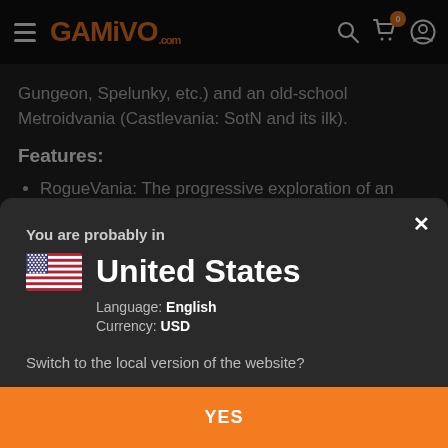GAMIVO.com
Gungeon, Spelunky, etc.) and an old-school Metroidvania (Castlevania: SotN and its ilk).
Features:
RogueVania: The progressive exploration of an interconnected world, with the replayability of
You are probably in
United States
Language: English
Currency: USD
Switch to the local version of the website?
YES